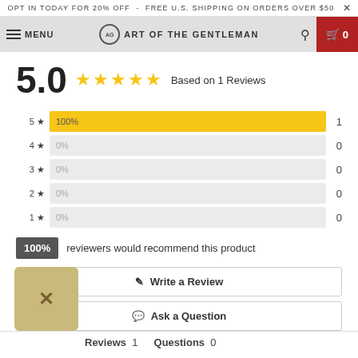OPT IN TODAY FOR 20% OFF - FREE U.S. SHIPPING ON ORDERS OVER $50 ×
≡ MENU  AG ART OF THE GENTLEMAN  🔍  🛒 0
5.0 ★★★★★ Based on 1 Reviews
[Figure (bar-chart): Star rating distribution]
100% reviewers would recommend this product
✎ Write a Review
💬 Ask a Question
Reviews  1    Questions  0